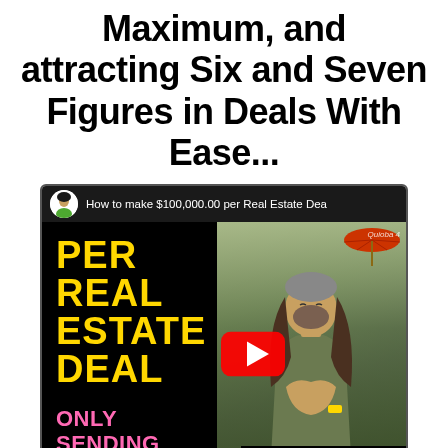Maximum, and attracting Six and Seven Figures in Deals With Ease...
[Figure (screenshot): YouTube video thumbnail screenshot showing a video titled 'How to make $100,000.00 per Real Estate Deal' with bold yellow text 'PER REAL ESTATE DEAL' on black background and pink text 'ONLY SENDING 100 LETTERS' overlaid on a man with long hair sitting at a restaurant with hands together in a prayer gesture, with a YouTube play button overlay. Bottom shows 'Watch on YouTube' bar.]